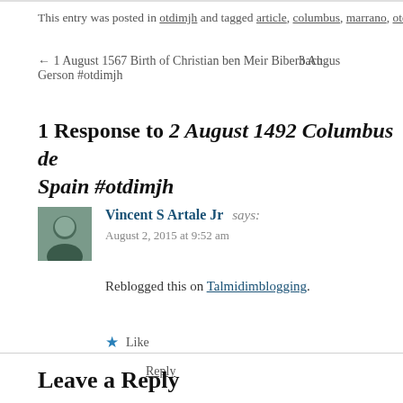This entry was posted in otdimjh and tagged article, columbus, marrano, otdi
← 1 August 1567 Birth of Christian ben Meir Biberbach Gerson #otdimjh    3 Augus
1 Response to 2 August 1492 Columbus de Spain #otdimjh
Vincent S Artale Jr says:
August 2, 2015 at 9:52 am
Reblogged this on Talmidimblogging.
Like
Reply
Leave a Reply